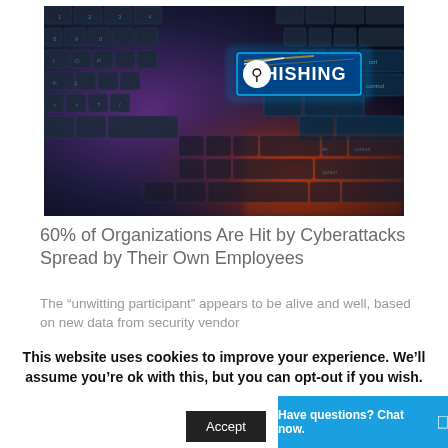[Figure (photo): A dark keyboard with a glowing blue key labeled PHISHING with a hook icon on a circle, illuminated with blue and orange/red light effects]
60% of Organizations Are Hit by Cyberattacks Spread by Their Own Employees
The “unwitting participant” appears to be alive and well, based on new data from security vendor
This website uses cookies to improve your experience. We’ll assume you’re ok with this, but you can opt-out if you wish.
Accept
Have questions? Chat now.